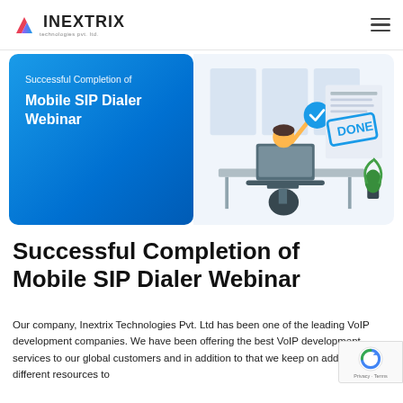INEXTRIX
[Figure (illustration): Blue gradient banner with 'Successful Completion of Mobile SIP Dialer Webinar' text on the left, and an office illustration on the right showing a woman at a desk with a laptop, a 'DONE' stamp on a document, and a plant.]
Successful Completion of Mobile SIP Dialer Webinar
Our company, Inextrix Technologies Pvt. Ltd has been one of the leading VoIP development companies. We have been offering the best VoIP development services to our global customers and in addition to that we keep on adding different resources to